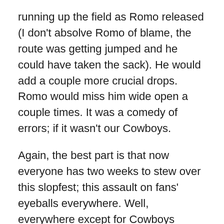running up the field as Romo released (I don't absolve Romo of blame, the route was getting jumped and he could have taken the sack). He would add a couple more crucial drops. Romo would miss him wide open a couple times. It was a comedy of errors; if it wasn't our Cowboys.
Again, the best part is that now everyone has two weeks to stew over this slopfest; this assault on fans' eyeballs everywhere. Well, everywhere except for Cowboys Stadium as the Bears seemed to be playing a home game with the raucous cheers that emerged throughout the game. With the performance of the team over the last couple seasons, it's no wonder that Cowboys Nation doesn't want to pony up to travel to Texas to watch this team in person. Why would they?